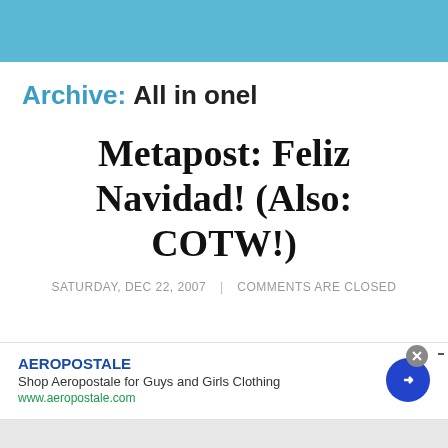Archive: All in onel
Metapost: Feliz Navidad! (Also: COTW!)
SATURDAY, DEC 22, 2007 | COMMENTS ARE CLOSED
[Figure (other): Advertisement for Aeropostale: Shop Aeropostale for Guys and Girls Clothing, www.aeropostale.com]